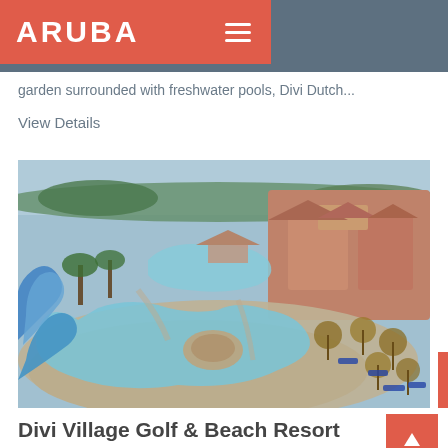ARUBA
garden surrounded with freshwater pools, Divi Dutch...
View Details
[Figure (photo): Aerial view of Divi Village Golf & Beach Resort showing a large freeform pool with water slides, thatched umbrellas, lounge chairs, and tropical resort buildings surrounded by palm trees.]
Divi Village Golf & Beach Resort
Centered on a sparkling, freshwater, infinity edge pool, Divi Village...